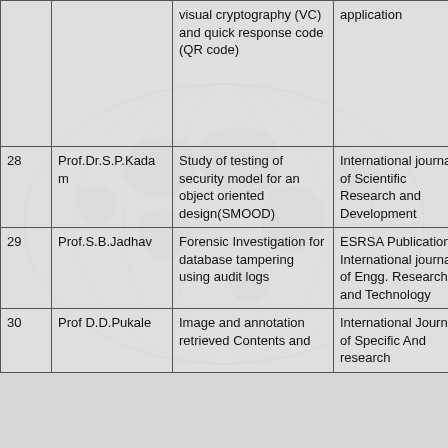| Sr.No. | Author | Title | Publication | Year |
| --- | --- | --- | --- | --- |
|  |  | visual cryptography (VC) and quick response code (QR code) | application |  |
| 28 | Prof.Dr.S.P.Kadam | Study of testing of security model for an object oriented design(SMOOD) | International journal of Scientific Research and Development | 20 |
| 29 | Prof.S.B.Jadhav | Forensic Investigation for database tampering using audit logs | ESRSA Publication International journal of Engg. Research and Technology | 20 |
| 30 | Prof D.D.Pukale | Image and annotation retrieved Contents and | International Journal of Specific And research | 20 |